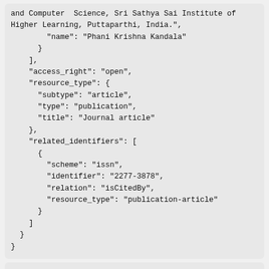and Computer Science, Sri Sathya Sai Institute of Higher Learning, Puttaparthi, India.",
        "name": "Phani Krishna Kandala"
      }
    ],
    "access_right": "open",
    "resource_type": {
      "subtype": "article",
      "type": "publication",
      "title": "Journal article"
    },
    "related_identifiers": [
      {
        "scheme": "issn",
        "identifier": "2277-3878",
        "relation": "isCitedBy",
        "resource_type": "publication-article"
      }
    ]
  }
}
25